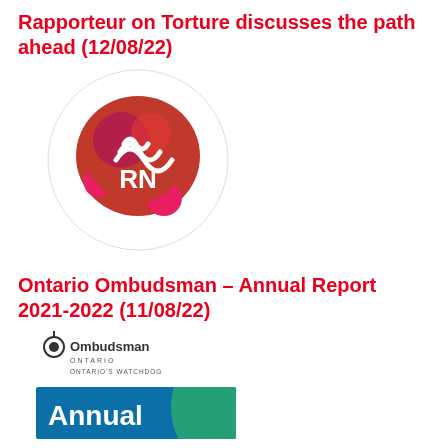Rapporteur on Torture discusses the path ahead (12/08/22)
[Figure (logo): ABC RN (Australian Broadcasting Corporation Radio National) circular logo with red/pink bubble design and white ABC logo mark and 'RN' text]
Ontario Ombudsman – Annual Report 2021-2022 (11/08/22)
[Figure (logo): Ontario Ombudsman logo with tagline 'Ontario's Watchdog']
[Figure (illustration): Partial view of the Ontario Ombudsman Annual Report cover showing blue and teal design with the word 'Annual' visible]